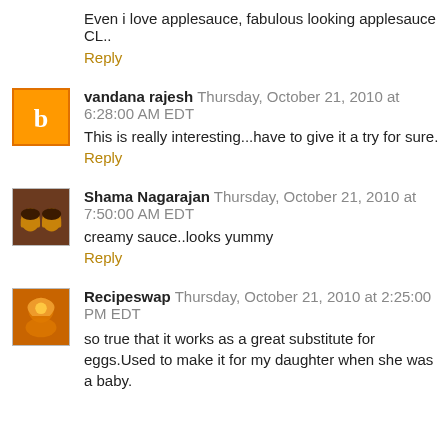Even i love applesauce, fabulous looking applesauce CL..
Reply
vandana rajesh Thursday, October 21, 2010 at 6:28:00 AM EDT
This is really interesting...have to give it a try for sure.
Reply
Shama Nagarajan Thursday, October 21, 2010 at 7:50:00 AM EDT
creamy sauce..looks yummy
Reply
Recipeswap Thursday, October 21, 2010 at 2:25:00 PM EDT
so true that it works as a great substitute for eggs.Used to make it for my daughter when she was a baby.